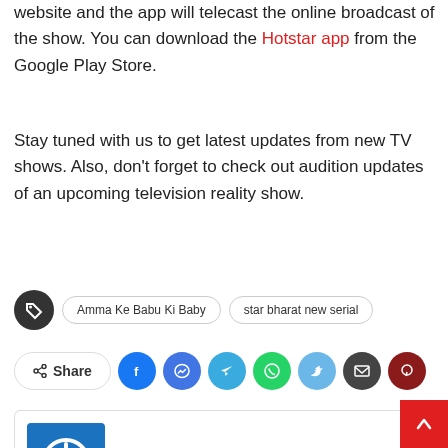website and the app will telecast the online broadcast of the show. You can download the Hotstar app from the Google Play Store.
Stay tuned with us to get latest updates from new TV shows. Also, don't forget to check out audition updates of an upcoming television reality show.
Tags: Amma Ke Babu Ki Baby | star bharat new serial
Share
[Figure (other): AF Team author box with blue power button logo icon and name AF Team]